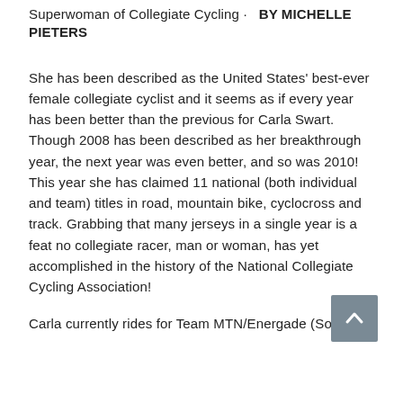Superwoman of Collegiate Cycling · BY MICHELLE PIETERS
She has been described as the United States' best-ever female collegiate cyclist and it seems as if every year has been better than the previous for Carla Swart. Though 2008 has been described as her breakthrough year, the next year was even better, and so was 2010! This year she has claimed 11 national (both individual and team) titles in road, mountain bike, cyclocross and track. Grabbing that many jerseys in a single year is a feat no collegiate racer, man or woman, has yet accomplished in the history of the National Collegiate Cycling Association!
Carla currently rides for Team MTN/Energade (South